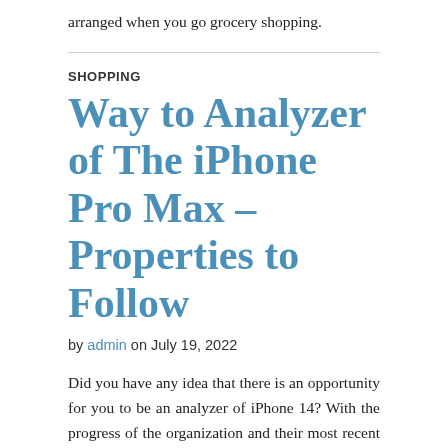arranged when you go grocery shopping.
SHOPPING
Way to Analyzer of The iPhone Pro Max – Properties to Follow
by admin on July 19, 2022
Did you have any idea that there is an opportunity for you to be an analyzer of iPhone 14? With the progress of the organization and their most recent iPhone and iPad, the organization is rewarding the local area with the opportunity to test their most recent devices. This is their approach to remaining serious and being on top of the innovation race. Allow this article to give you